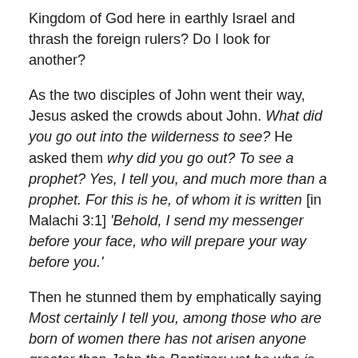Kingdom of God here in earthly Israel and thrash the foreign rulers? Do I look for another?
As the two disciples of John went their way, Jesus asked the crowds about John. What did you go out into the wilderness to see? He asked them why did you go out? To see a prophet? Yes, I tell you, and much more than a prophet. For this is he, of whom it is written [in Malachi 3:1] 'Behold, I send my messenger before your face, who will prepare your way before you.'
Then he stunned them by emphatically saying Most certainly I tell you, among those who are born of women there has not arisen anyone greater than John the Baptizer; yet he who is least in the Kingdom of Heaven is greater than he.
Since the prophet Malachi, prophesying had ceased as the